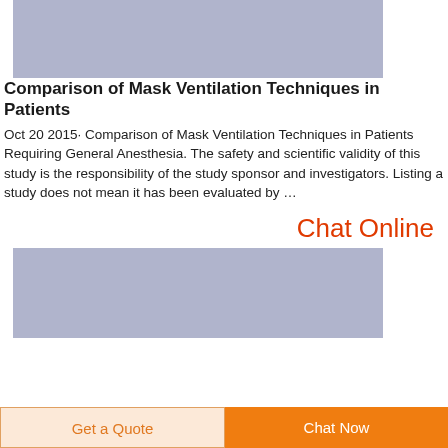[Figure (photo): Gray/blue placeholder image at the top of the page (partially cropped)]
Comparison of Mask Ventilation Techniques in Patients
Oct 20 2015· Comparison of Mask Ventilation Techniques in Patients Requiring General Anesthesia. The safety and scientific validity of this study is the responsibility of the study sponsor and investigators. Listing a study does not mean it has been evaluated by …
Chat Online
[Figure (photo): Gray/blue placeholder image at the bottom of the page (partially cropped)]
Get a Quote
Chat Now